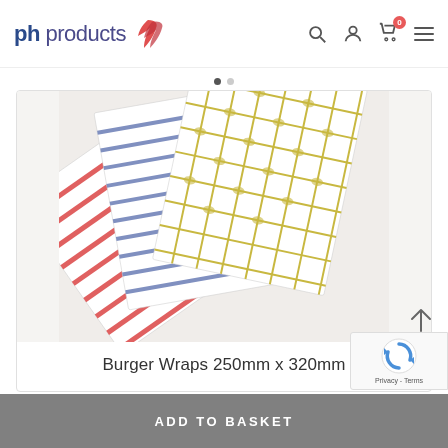[Figure (logo): ph products logo with red leaf icon on the left, and search, user, cart (badge 0), hamburger menu icons on the right]
[Figure (photo): Three overlapping sheets of patterned burger wrap paper — red/white stripes, blue/white diagonal stripes, and yellow/white dot pattern — photographed on a light grey background]
Burger Wraps 250mm x 320mm
ADD TO BASKET